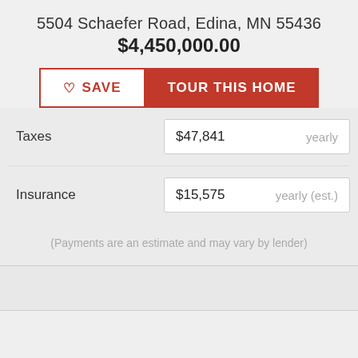5504 Schaefer Road, Edina, MN 55436
$4,450,000.00
[Figure (screenshot): Two buttons: SAVE (white background, red border with heart icon) and TOUR THIS HOME (red background, white text)]
|  | Amount | Frequency |
| --- | --- | --- |
| Taxes | $47,841 | yearly |
| Insurance | $15,575 | yearly (est.) |
(Payments are an estimate and may vary by lender)